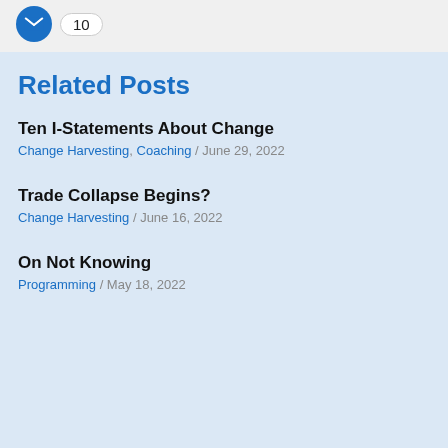[Figure (other): Email share button with icon and count of 10]
Related Posts
Ten I-Statements About Change
Change Harvesting, Coaching / June 29, 2022
Trade Collapse Begins?
Change Harvesting / June 16, 2022
On Not Knowing
Programming / May 18, 2022